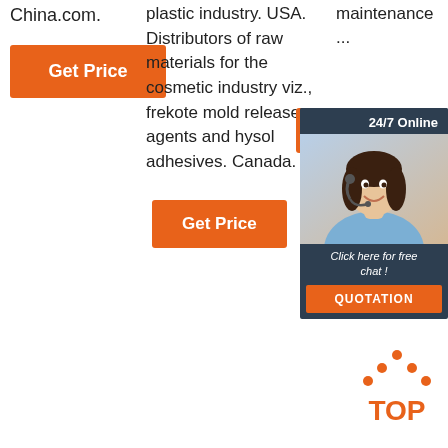China.com.
[Figure (other): Orange 'Get Price' button]
plastic industry. USA. Distributors of raw materials for the cosmetic industry viz., frekote mold release agents and hysol adhesives. Canada.
maintenance ...
[Figure (infographic): 24/7 Online chat widget with a customer service representative photo and 'Click here for free chat!' text and QUOTATION button]
[Figure (other): Orange 'Get Price' button (second)]
[Figure (other): TOP arrow icon in orange]